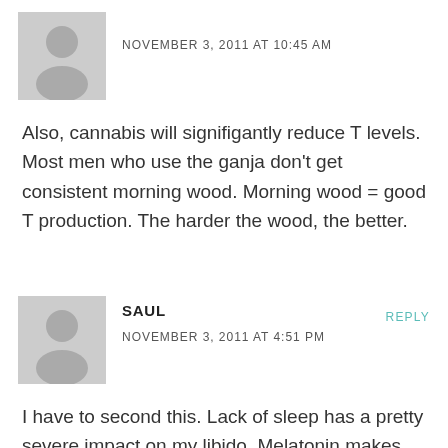[Figure (illustration): Gray placeholder avatar icon for first commenter]
NOVEMBER 3, 2011 AT 10:45 AM
Also, cannabis will signifigantly reduce T levels. Most men who use the ganja don't get consistent morning wood. Morning wood = good T production. The harder the wood, the better.
[Figure (illustration): Gray placeholder avatar icon for Saul]
SAUL
REPLY
NOVEMBER 3, 2011 AT 4:51 PM
I have to second this. Lack of sleep has a pretty severe impact on my libido. Melatonin makes me fall asleep faster